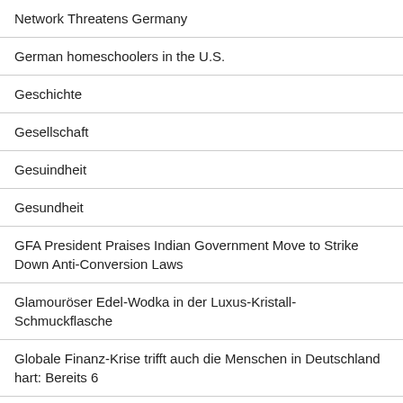Network Threatens Germany
German homeschoolers in the U.S.
Geschichte
Gesellschaft
Gesuindheit
Gesundheit
GFA President Praises Indian Government Move to Strike Down Anti-Conversion Laws
Glamouröser Edel-Wodka in der Luxus-Kristall-Schmuckflasche
Globale Finanz-Krise trifft auch die Menschen in Deutschland hart: Bereits 6